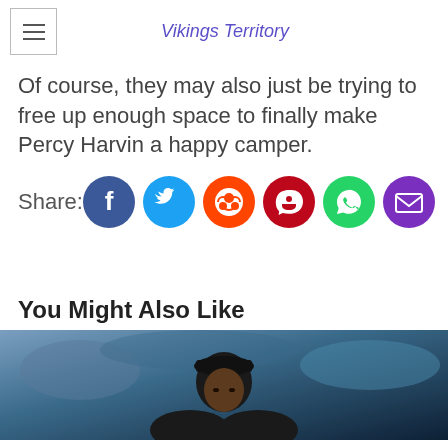Vikings Territory
Of course, they may also just be trying to free up enough space to finally make Percy Harvin a happy camper.
Share:
[Figure (infographic): Social share buttons: Facebook, Twitter, Reddit, Pinterest, WhatsApp, Email]
You Might Also Like
[Figure (photo): Photo of a football player wearing a black cap, with a blurred crowd in background]